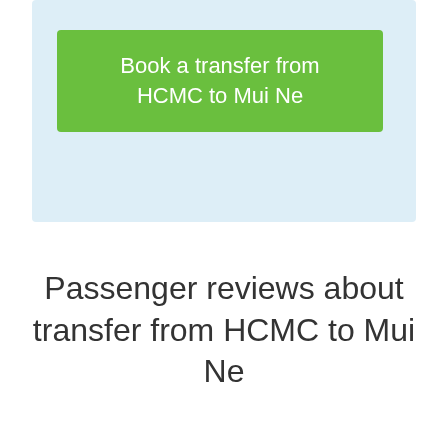[Figure (other): Light blue rounded box containing a green button with text 'Book a transfer from HCMC to Mui Ne']
Passenger reviews about transfer from HCMC to Mui Ne